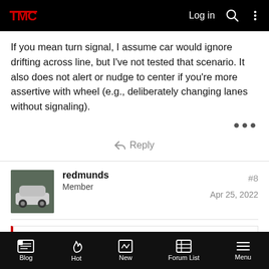TMC | Log in
If you mean turn signal, I assume car would ignore drifting across line, but I've not tested that scenario. It also does not alert or nudge to center if you're more assertive with wheel (e.g., deliberately changing lanes without signaling).
Reply
redmunds
Member
#8
Apr 25, 2022
mtbwalt said:
Be careful pulling the MS forward into a parking place with a standard parking stop. That scrape sound will make you cry.
Blog | Hot | New | Forum List | Menu